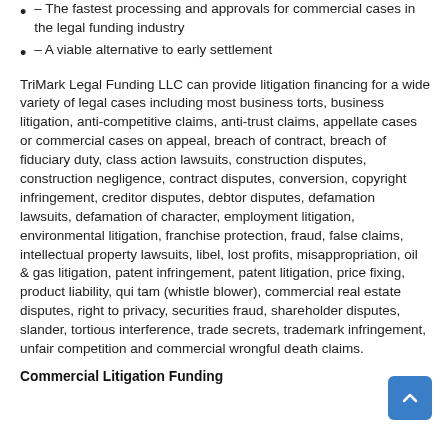– The fastest processing and approvals for commercial cases in the legal funding industry
– A viable alternative to early settlement
TriMark Legal Funding LLC can provide litigation financing for a wide variety of legal cases including most business torts, business litigation, anti-competitive claims, anti-trust claims, appellate cases or commercial cases on appeal, breach of contract, breach of fiduciary duty, class action lawsuits, construction disputes, construction negligence, contract disputes, conversion, copyright infringement, creditor disputes, debtor disputes, defamation lawsuits, defamation of character, employment litigation, environmental litigation, franchise protection, fraud, false claims, intellectual property lawsuits, libel, lost profits, misappropriation, oil & gas litigation, patent infringement, patent litigation, price fixing, product liability, qui tam (whistle blower), commercial real estate disputes, right to privacy, securities fraud, shareholder disputes, slander, tortious interference, trade secrets, trademark infringement, unfair competition and commercial wrongful death claims.
Commercial Litigation Funding